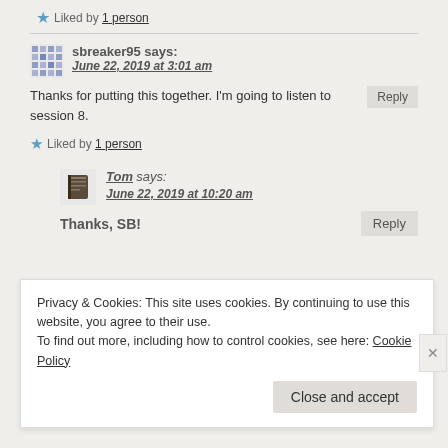★ Liked by 1 person
sbreaker95 says:
June 22, 2019 at 3:01 am
Thanks for putting this together. I'm going to listen to session 8.
★ Liked by 1 person
Tom says:
June 22, 2019 at 10:20 am
Thanks, SB!
Privacy & Cookies: This site uses cookies. By continuing to use this website, you agree to their use.
To find out more, including how to control cookies, see here: Cookie Policy